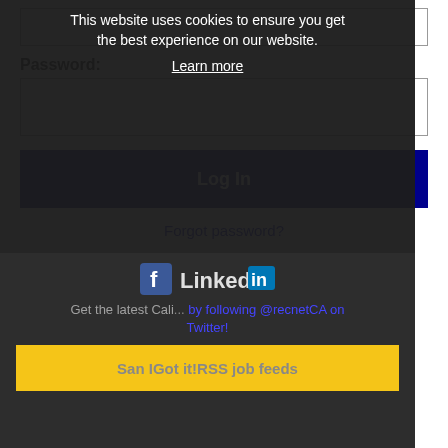Password:
Log In
Forgot password?
[Figure (logo): Facebook and LinkedIn social media icons/logos]
This website uses cookies to ensure you get the best experience on our website.
Learn more
Get the latest Cali... by following @recnetCA on Twitter!
San I... RSS job feeds | Got it!